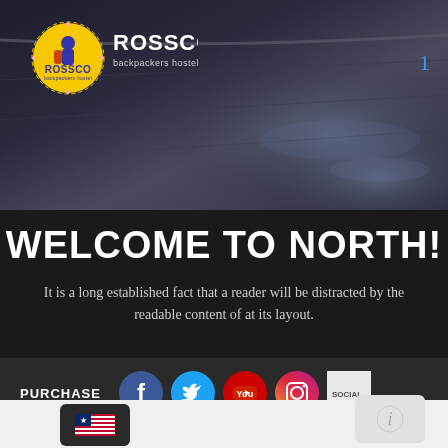[Figure (screenshot): Rossco Backpackers Hostel logo on wet pavement hero image background with page number 1 in top right]
WELCOME TO NORTH!
It is a long established fact that a reader will be distracted by the readable content of at its layout.
[Figure (infographic): Social media bar with PURCHASE label and icons for Facebook, Twitter, YouTube, Instagram, and SOCIALICO]
[Figure (infographic): Bottom bar with US flag button and info/settings button on light grey background]